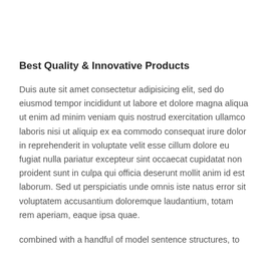Best Quality & Innovative Products
Duis aute sit amet consectetur adipisicing elit, sed do eiusmod tempor incididunt ut labore et dolore magna aliqua ut enim ad minim veniam quis nostrud exercitation ullamco laboris nisi ut aliquip ex ea commodo consequat irure dolor in reprehenderit in voluptate velit esse cillum dolore eu fugiat nulla pariatur excepteur sint occaecat cupidatat non proident sunt in culpa qui officia deserunt mollit anim id est laborum. Sed ut perspiciatis unde omnis iste natus error sit voluptatem accusantium doloremque laudantium, totam rem aperiam, eaque ipsa quae.
combined with a handful of model sentence structures, to